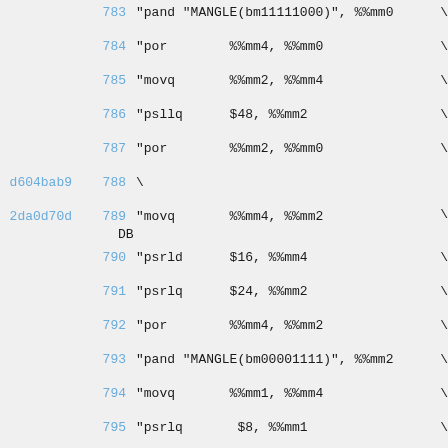783   "pand "MANGLE(bm11111000)", %%mm0   \
784   "por        %%mm4, %%mm0   \
785   "movq       %%mm2, %%mm4   \
786   "psllq      $48, %%mm2   \
787   "por        %%mm2, %%mm0   \
d604bab9 788   \
2da0d70d 789   "movq       %%mm4, %%mm2   \ DB
790   "psrld      $16, %%mm4   \
791   "psrlq      $24, %%mm2   \
792   "por        %%mm4, %%mm2   \
793   "pand "MANGLE(bm00001111)", %%mm2   \
794   "movq       %%mm1, %%mm4   \
795   "psrlq      $8, %%mm1   \
796   "pand "MANGLE(bm00000111)", %%mm4   \
797   "pand "MANGLE(bm11111000)", %%mm1   \